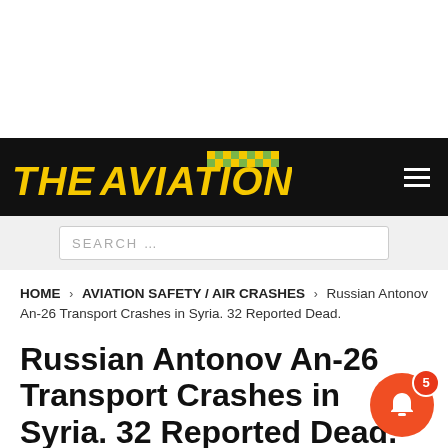[Figure (logo): The Aviationist website logo — yellow italic bold text on black background with checkered flag pattern]
SEARCH …
HOME > AVIATION SAFETY / AIR CRASHES > Russian Antonov An-26 Transport Crashes in Syria. 32 Reported Dead.
Russian Antonov An-26 Transport Crashes in Syria. 32 Reported Dead.